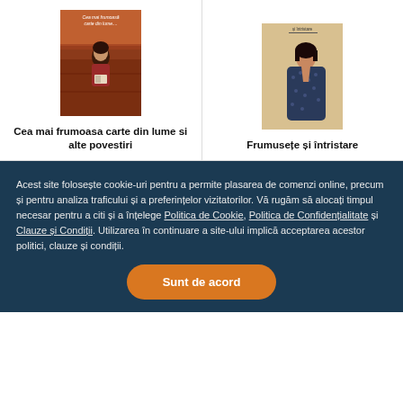[Figure (illustration): Book cover: Cea mai frumoasa carte din lume - woman reading on train in reddish tones]
Cea mai frumoasa carte din lume si alte povestiri
[Figure (illustration): Book cover: Frumusete si intristare - Japanese woman in dark patterned robe on beige background]
Frumusețe și întristare
Acest site folosește cookie-uri pentru a permite plasarea de comenzi online, precum și pentru analiza traficului și a preferințelor vizitatorilor. Vă rugăm să alocați timpul necesar pentru a citi și a înțelege Politica de Cookie, Politica de Confidențialitate și Clauze și Condiții. Utilizarea în continuare a site-ului implică acceptarea acestor politici, clauze și condiții.
Sunt de acord